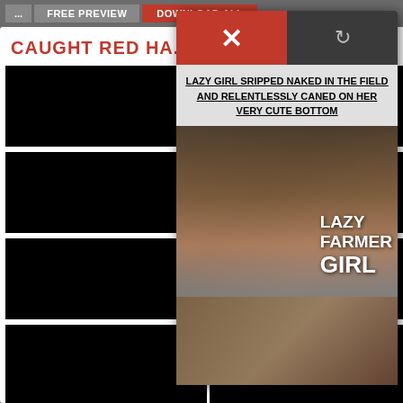[Figure (screenshot): Website UI screenshot showing top navigation bar with '...', 'FREE PREVIEW', and 'DOWNLOAD ALL' buttons on gray background]
CAUGHT RED HA...
[Figure (screenshot): Grid of black image thumbnails in 2 columns]
[Figure (screenshot): Popup overlay with red X button and dark refresh button, title text, and two photos]
LAZY GIRL SRIPPED NAKED IN THE FIELD AND RELENTLESSLY CANED ON HER VERY CUTE BOTTOM